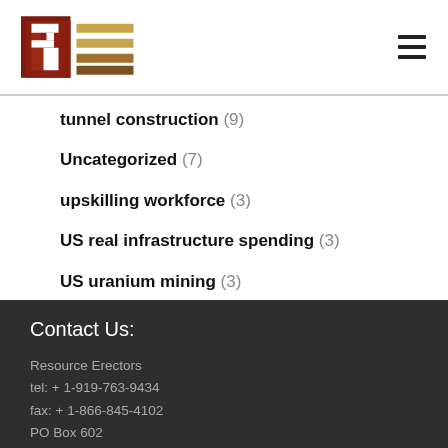Resource Erectors logo and navigation
tunnel construction (9)
Uncategorized (7)
upskilling workforce (3)
US real infrastructure spending (3)
US uranium mining (3)
veteran employees (3)
workplace communications (1)
Contact Us:
Resource Erectors
tel: + 1-919-763-9434
fax: + 1-866-845-4102
PO Box 602